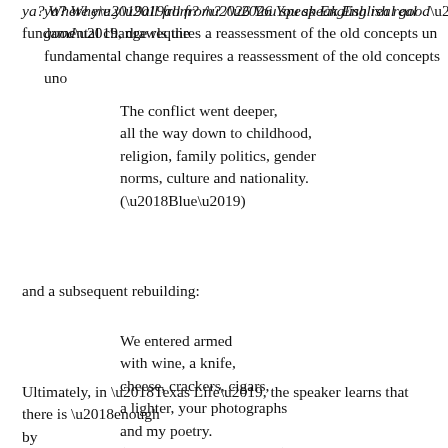ya? Where y’all from? /… You speak English real good’, drawls the fundamental change requires a reassessment of the old concepts un…
The conflict went deeper,
all the way down to childhood,
religion, family politics, gender
norms, culture and nationality.
(‘Blue’)
and a subsequent rebuilding:
We entered armed
with wine, a knife,
cheese, crackers, cigars,
a lighter, your photographs
and my poetry.
(‘The Woods’)
Ultimately, in ‘Texas Life’, the speaker learns that there is ‘enough… by